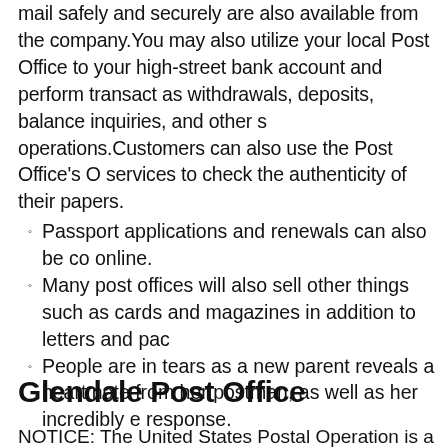mail safely and securely are also available from the company.You may also utilize your local Post Office to your high-street bank account and perform transactions as withdrawals, deposits, balance inquiries, and other s operations.Customers can also use the Post Office's O services to check the authenticity of their papers.
Passport applications and renewals can also be completed online.
Many post offices will also sell other things such as cards and magazines in addition to letters and packages.
People are in tears as a new parent reveals a heartwarming note from her postman, as well as her incredibly emotional response.
Glendale Post Office
NOTICE: The United States Postal Operation is a crit...